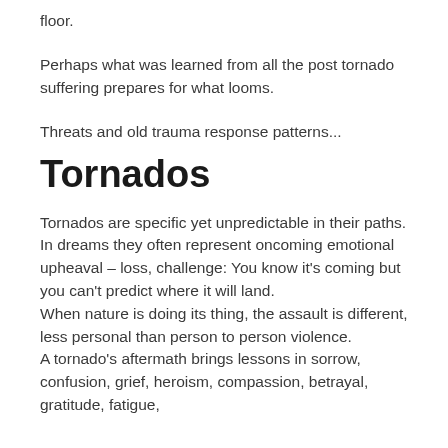floor.
Perhaps what was learned from all the post tornado suffering prepares for what looms.
Threats and old trauma response patterns...
Tornados
Tornados are specific yet unpredictable in their paths. In dreams they often represent oncoming emotional upheaval – loss, challenge: You know it's coming but you can't predict where it will land.
When nature is doing its thing, the assault is different, less personal than person to person violence.
A tornado's aftermath brings lessons in sorrow, confusion, grief, heroism, compassion, betrayal, gratitude, fatigue,